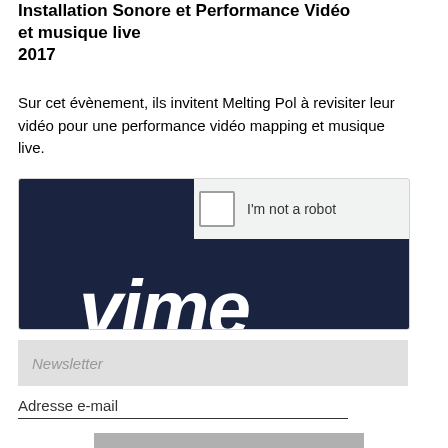Installation Sonore et Performance Vidéo et musique live
2017
Sur cet évènement, ils invitent Melting Pol à revisiter leur vidéo pour une performance vidéo mapping et musique live.
[Figure (screenshot): reCAPTCHA widget with 'I'm not a robot' checkbox on a light grey background, with dark navy background section below showing partial Vimeo logo text]
Newsletter
Adresse e-mail
s'inscrire